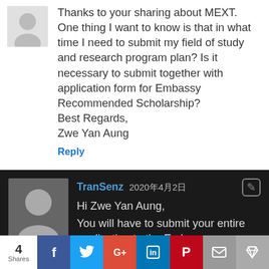Thanks to your sharing about MEXT. One thing I want to know is that in what time I need to submit my field of study and research program plan? Is it necessary to submit together with application form for Embassy Recommended Scholarship? Best Regards, Zwe Yan Aung
Reply
TranSenz 2020年4月2日
Hi Zwe Yan Aung, You will have to submit your entire application to the Embassy or University that you are applying to at once.